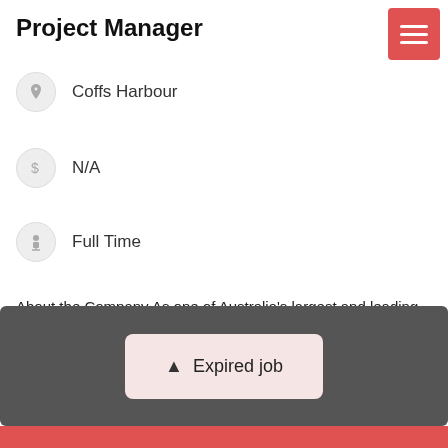Project Manager
Coffs Harbour
N/A
Full Time
About the Company As one of Australia's largest and leading human resource and consulta...
More info →   Apply →
⚠ Expired job